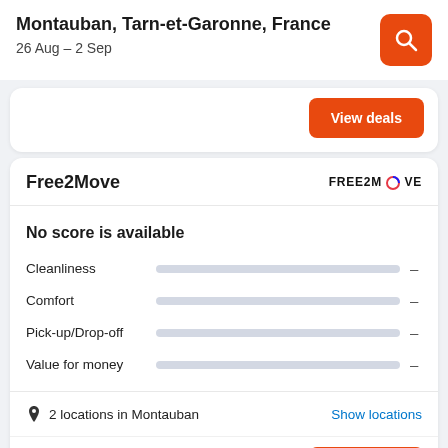Montauban, Tarn-et-Garonne, France
26 Aug – 2 Sep
View deals
Free2Move
No score is available
Cleanliness –
Comfort –
Pick-up/Drop-off –
Value for money –
2 locations in Montauban
Show locations
View deals